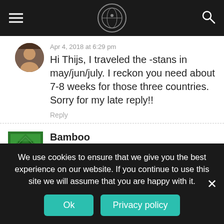Navigation bar with hamburger menu, logo, and search icon
Apr 4, 2018 at 6:29 pm
Hi Thijs, I traveled the -stans in may/jun/july. I reckon you need about 7-8 weeks for those three countries. Sorry for my late reply!!
Reply
Bamboo
Mar 9, 2019 at 10:32 pm
Hi Manouk,
I'm planning my trip on the Silk Road in the next
We use cookies to ensure that we give you the best experience on our website. If you continue to use this site we will assume that you are happy with it.
Ok
Privacy policy